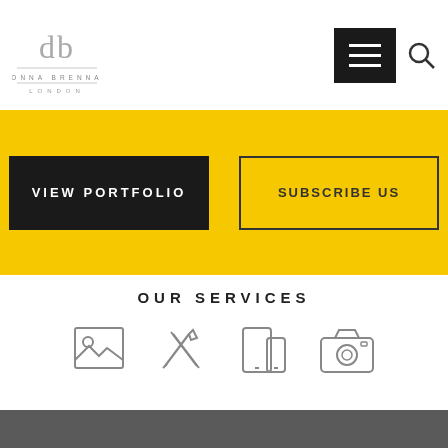[Figure (logo): Donna Brennan London logo with stylized 'db' lettermark above the text DONNA BRENNAN LONDON]
[Figure (other): Hamburger menu button (black square with three white horizontal lines) and a search magnifier icon]
[Figure (infographic): Yellow banner with two buttons: VIEW PORTFOLIO (black) and SUBSCRIBE US (outlined)]
OUR SERVICES
[Figure (infographic): Four service icons: image/gallery icon, pen/tools crossover icon, mobile/tablet device icon, camera icon]
[Figure (other): Dark gray footer bar]